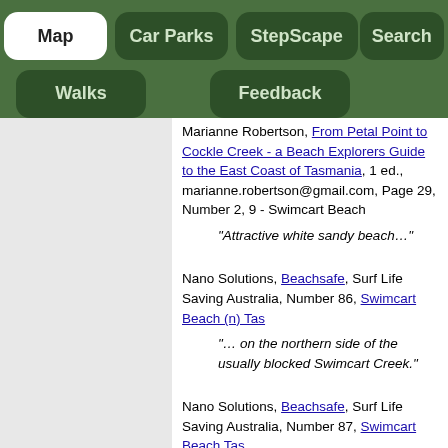Map | Car Parks | StepScape | Search | Walks | Feedback
Marianne Robertson, From Petal Point to Cockle Creek - a Beach Explorers Guide to the East Coast of Tasmania, 1 ed., marianne.robertson@gmail.com, Page 29, Number 2, 9 - Swimcart Beach
“Attractive white sandy beach…”
Nano Solutions, Beachsafe, Surf Life Saving Australia, Number 86, Swimcart Beach (n) Tas
“… on the northern side of the usually blocked Swimcart Creek.”
Nano Solutions, Beachsafe, Surf Life Saving Australia, Number 87, Swimcart Beach Tas